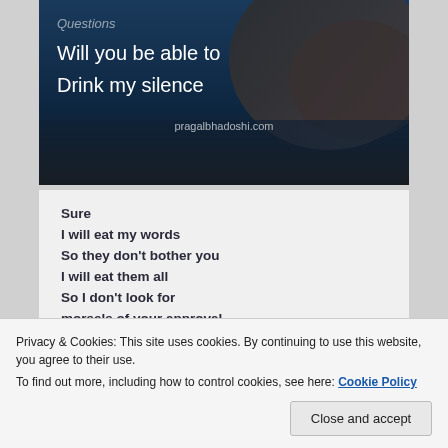[Figure (photo): Dark moody photo (ocean/rock aerial view) with white text overlay reading partial poem lines: 'Questions / Will you be able to / Drink my silence' and 'pragalbhadoshi.com']
Sure
I will eat my words
So they don't bother you
I will eat them all
So I don't look for
morsels of your approval
Question is
Privacy & Cookies: This site uses cookies. By continuing to use this website, you agree to their use.
To find out more, including how to control cookies, see here: Cookie Policy